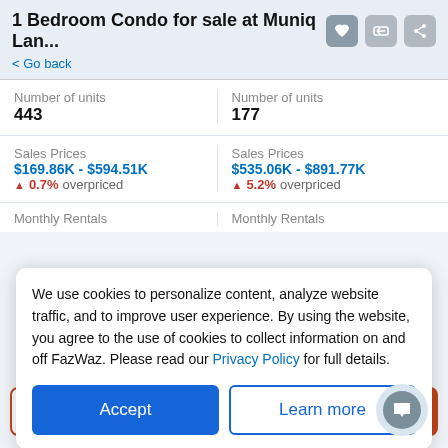1 Bedroom Condo for sale at Muniq Lan...
< Go back
|  |  |
| --- | --- |
| Number of units
443 | Number of units
177 |
| Sales Prices
$169.86K - $594.51K
▲ 0.7% overpriced | Sales Prices
$535.06K - $891.77K
▲ 5.2% overpriced |
| Monthly Rentals | Monthly Rentals |
We use cookies to personalize content, analyze website traffic, and to improve user experience. By using the website, you agree to the use of cookies to collect information on and off FazWaz. Please read our Privacy Policy for full details.
Accept
Learn more
Request Details
Schedule Viewing